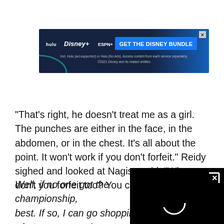[Figure (other): Disney Bundle advertisement banner showing Hulu, Disney+, and ESPN+ logos with 'GET THE DISNEY BUNDLE' call to action button, and fine print about ad-supported service and copyright 2021 Disney.]
“That’s right, he doesn’t treat me as a girl. The punches are either in the face, in the abdomen, or in the chest. It’s all about the point. It won’t work if you don’t forfeit.” Reidy sighed and looked at Nagisa said, “Why don’t you forfeit too? You can’t beat him.”
Well, if no one got the championship, best. If so, I can go shopping with the whatever reason I want.
[Figure (screenshot): Black video player overlay in bottom right corner with X close button and loading spinner.]